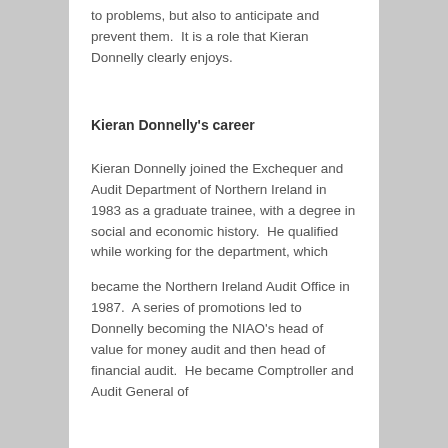to problems, but also to anticipate and prevent them.  It is a role that Kieran Donnelly clearly enjoys.
Kieran Donnelly's career
Kieran Donnelly joined the Exchequer and Audit Department of Northern Ireland in 1983 as a graduate trainee, with a degree in social and economic history.  He qualified while working for the department, which
became the Northern Ireland Audit Office in 1987.  A series of promotions led to Donnelly becoming the NIAO's head of value for money audit and then head of financial audit.  He became Comptroller and Audit General of